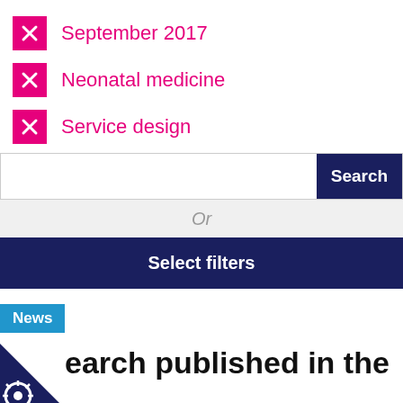× September 2017
× Neonatal medicine
× Service design
Search
Or
Select filters
News
earch published in the